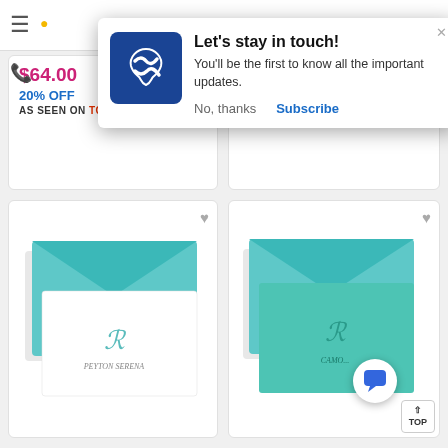[Figure (screenshot): Navigation bar with hamburger menu icon and phone icon]
[Figure (infographic): Popup notification: Let's stay in touch! with logo, subscribe/no thanks buttons]
Let's stay in touch!
You'll be the first to know all the important updates.
No, thanks    Subscribe
$64.00
20% OFF
AS SEEN ON TODAY
$49.50
10% OFF
AS SEEN ON TODAY
[Figure (photo): Stationery product with teal envelope and white notecard with monogram R - Peyton Serena]
[Figure (photo): Stationery product with teal envelope and teal notecard with monogram R]